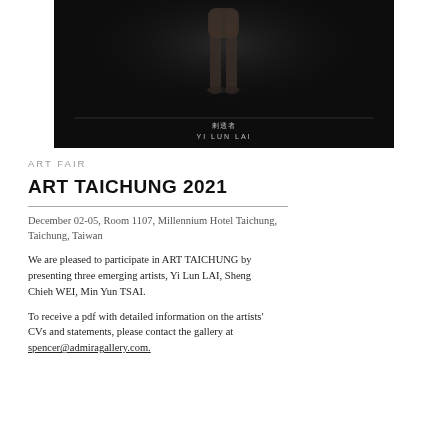[Figure (photo): Dark studio photograph showing the lower body/legs of a figure (sculpture or person) standing against a black background, with Chinese text and artist name 'YI LUN LAI' overlaid at the bottom.]
ART FAIR
ART TAICHUNG 2021
December 02-05, Room 1107, Millennium Hotel Taichung, Taichung, Taiwan
We are pleased to participate in ART TAICHUNG by presenting three emerging artists, Yi Lun LAI, Sheng Chieh WEI, Min Yun TSAI.
To receive a pdf with detailed information on the artists' CVs and statements, please contact the gallery at spencer@admiragallery.com.